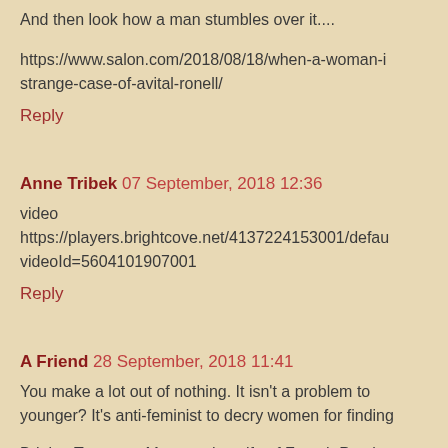And then look how a man stumbles over it....
https://www.salon.com/2018/08/18/when-a-woman-is-strange-case-of-avital-ronell/
Reply
Anne Tribek 07 September, 2018 12:36
video https://players.brightcove.net/4137224153001/defau... videoId=5604101907001
Reply
A Friend 28 September, 2018 11:41
You make a lot out of nothing. It isn't a problem to be younger? It's anti-feminist to decry women for finding...
Brigitte Trogneux Macron, the wife of French Presi...